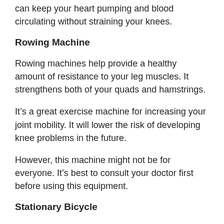can keep your heart pumping and blood circulating without straining your knees.
Rowing Machine
Rowing machines help provide a healthy amount of resistance to your leg muscles. It strengthens both of your quads and hamstrings.
It’s a great exercise machine for increasing your joint mobility. It will lower the risk of developing knee problems in the future.
However, this machine might not be for everyone. It’s best to consult your doctor first before using this equipment.
Stationary Bicycle
Cycling is one of the best cardio exercises to combat knee pain and encourage knee strength.
Using a stationary bike can help give you more control over the